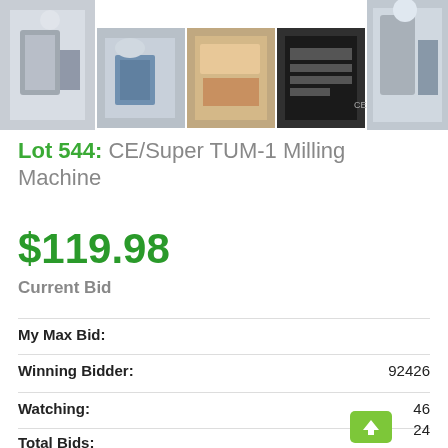[Figure (photo): Strip of 5 photos showing a CE/Super TUM-1 Milling Machine from various angles including full machine view, detail shots, and a specification plate]
Lot 544: CE/Super TUM-1 Milling Machine
$119.98
Current Bid
My Max Bid:
Winning Bidder: 92426
Watching: 46
Total Bids: 24